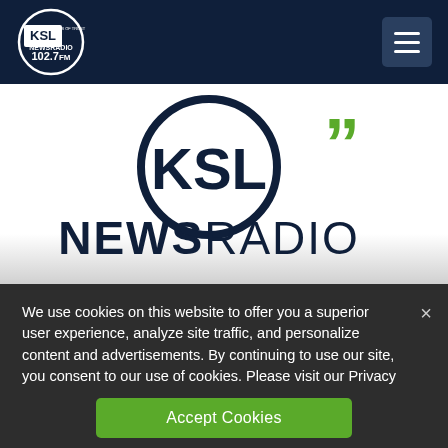[Figure (logo): KSL NewsRadio 102.7 FM logo - circular logo with KSL text and NEWSRADIO 102.7FM text, white on dark navy background, in navigation bar]
[Figure (logo): Large KSL NewsRadio logo centered on white background - circular KSL emblem above with green quotation marks and NEWSRADIO text in dark navy]
We use cookies on this website to offer you a superior user experience, analyze site traffic, and personalize content and advertisements. By continuing to use our site, you consent to our use of cookies. Please visit our Privacy Policy for more information.
Accept Cookies